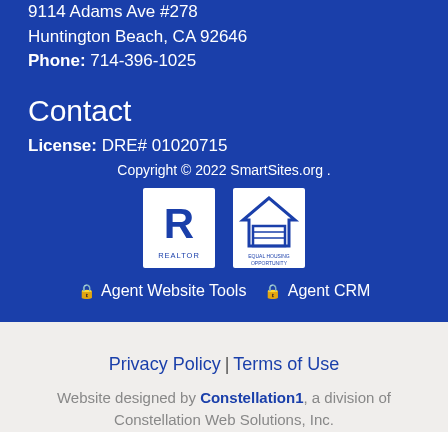9114 Adams Ave #278
Huntington Beach, CA 92646
Phone: 714-396-1025
Contact
License: DRE# 01020715
Copyright © 2022 SmartSites.org .
[Figure (logo): REALTOR and Equal Housing Opportunity logos]
🔒 Agent Website Tools  🔒 Agent CRM
Privacy Policy | Terms of Use
Website designed by Constellation1, a division of Constellation Web Solutions, Inc.